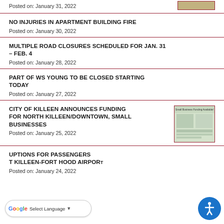Posted on: January 31, 2022
NO INJURIES IN APARTMENT BUILDING FIRE
Posted on: January 30, 2022
MULTIPLE ROAD CLOSURES SCHEDULED FOR JAN. 31 – FEB. 4
Posted on: January 28, 2022
PART OF WS YOUNG TO BE CLOSED STARTING TODAY
Posted on: January 27, 2022
CITY OF KILLEEN ANNOUNCES FUNDING FOR NORTH KILLEEN/DOWNTOWN, SMALL BUSINESSES
[Figure (photo): Thumbnail image for City of Killeen small business funding announcement]
Posted on: January 25, 2022
UPTIONS FOR PASSENGERS T KILLEEN-FORT HOOD AIRPORT
Posted on: January 24, 2022